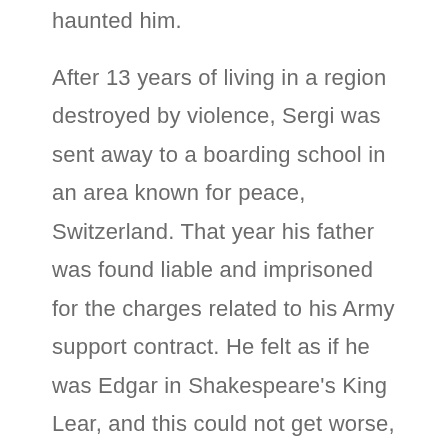haunted him.
After 13 years of living in a region destroyed by violence, Sergi was sent away to a boarding school in an area known for peace, Switzerland. That year his father was found liable and imprisoned for the charges related to his Army support contract. He felt as if he was Edgar in Shakespeare's King Lear, and this could not get worse, but yet it did.
Moreover, not living alone and his...